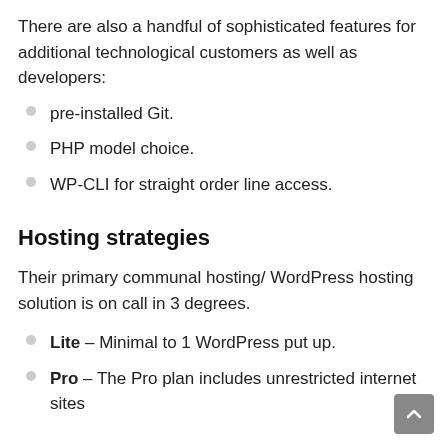There are also a handful of sophisticated features for additional technological customers as well as developers:
pre-installed Git.
PHP model choice.
WP-CLI for straight order line access.
Hosting strategies
Their primary communal hosting/ WordPress hosting solution is on call in 3 degrees.
Lite – Minimal to 1 WordPress put up.
Pro – The Pro plan includes unrestricted internet sites